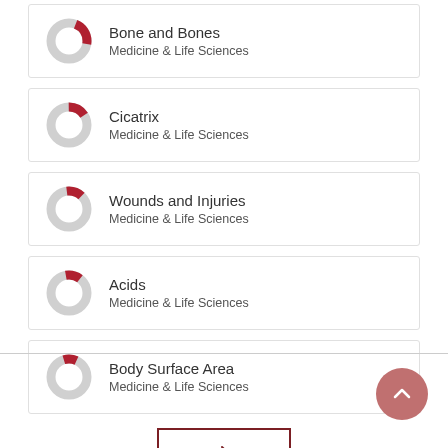Bone and Bones
Medicine & Life Sciences
Cicatrix
Medicine & Life Sciences
Wounds and Injuries
Medicine & Life Sciences
Acids
Medicine & Life Sciences
Body Surface Area
Medicine & Life Sciences
[Figure (other): Next page navigation button with right chevron, dark red border]
[Figure (other): Scroll-to-top button, circular, muted red/pink]